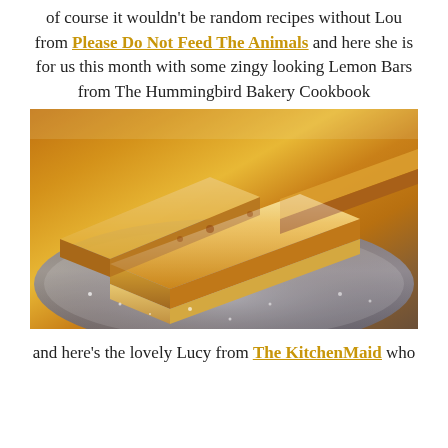of course it wouldn't be random recipes without Lou from Please Do Not Feed The Animals and here she is for us this month with some zingy looking Lemon Bars from The Hummingbird Bakery Cookbook
[Figure (photo): Close-up photo of golden lemon bars dusted with powdered sugar, cut into rectangular slices, arranged on a dark plate. The bars have a bright yellow lemon curd top layer over a shortbread base.]
and here's the lovely Lucy from The KitchenMaid who